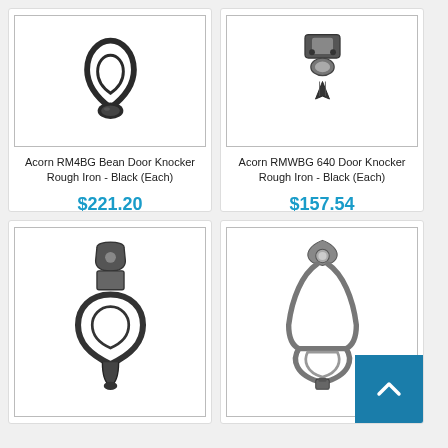[Figure (photo): Acorn RM4BG Bean Door Knocker, rough iron black finish, close-up overhead view showing teardrop-shaped knocker ring]
Acorn RM4BG Bean Door Knocker Rough Iron - Black (Each)
$221.20
[Figure (photo): Acorn RMWBG 640 Door Knocker, rough iron black finish, top-down view showing hinge mechanism and striker]
Acorn RMWBG 640 Door Knocker Rough Iron - Black (Each)
$157.54
[Figure (photo): Door knocker rough iron finish, front view showing decorative ring knocker with ornamental backplate]
[Figure (photo): Door knocker with elongated teardrop ring and decorative top backplate, pewter/silver finish]